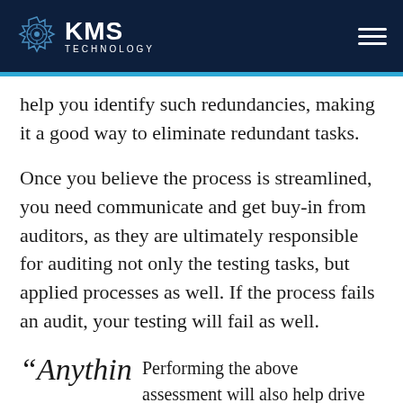KMS TECHNOLOGY
help you identify such redundancies, making it a good way to eliminate redundant tasks.
Once you believe the process is streamlined, you need communicate and get buy-in from auditors, as they are ultimately responsible for auditing not only the testing tasks, but applied processes as well. If the process fails an audit, your testing will fail as well.
“Anythin   Performing the above assessment will also help drive